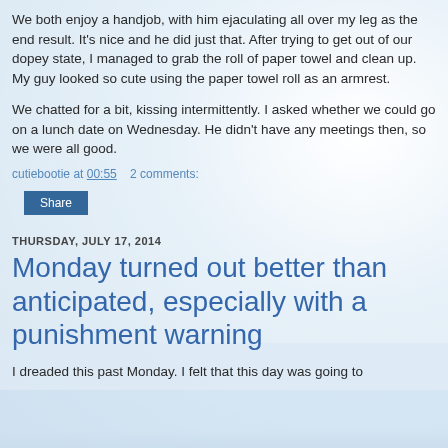We both enjoy a handjob, with him ejaculating all over my leg as the end result. It's nice and he did just that. After trying to get out of our dopey state, I managed to grab the roll of paper towel and clean up. My guy looked so cute using the paper towel roll as an armrest.
We chatted for a bit, kissing intermittently. I asked whether we could go on a lunch date on Wednesday. He didn't have any meetings then, so we were all good.
cutiebootie at 00:55    2 comments:
Share
THURSDAY, JULY 17, 2014
Monday turned out better than anticipated, especially with a punishment warning
I dreaded this past Monday. I felt that this day was going to